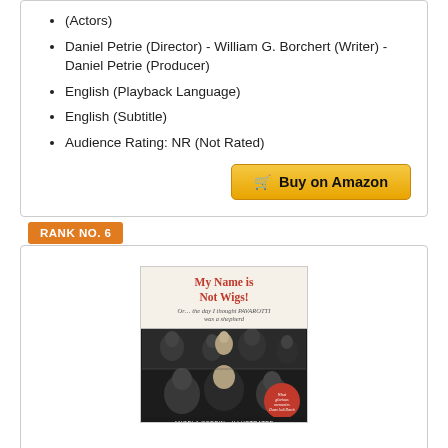(Actors)
Daniel Petrie (Director) - William G. Borchert (Writer) - Daniel Petrie (Producer)
English (Playback Language)
English (Subtitle)
Audience Rating: NR (Not Rated)
Buy on Amazon
RANK NO. 6
[Figure (photo): Book cover for 'My Name is Not Wigs! Or...the day I thought PAVAROTTI was a shepherd' by Angela Cobbin, illustrated. Cover shows black and white illustration of opera/theatrical figures with a red circle badge reading 'What glorious memories - Dame Judi Dench'.]